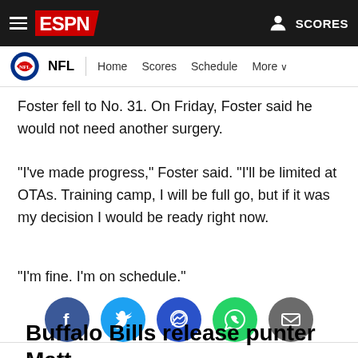ESPN — NFL | Home Scores Schedule More
Foster fell to No. 31. On Friday, Foster said he would not need another surgery.
"I've made progress," Foster said. "I'll be limited at OTAs. Training camp, I will be full go, but if it was my decision I would be ready right now.
"I'm fine. I'm on schedule."
[Figure (infographic): Social share buttons: Facebook, Twitter, Messenger, WhatsApp, Email]
Buffalo Bills release punter Matt